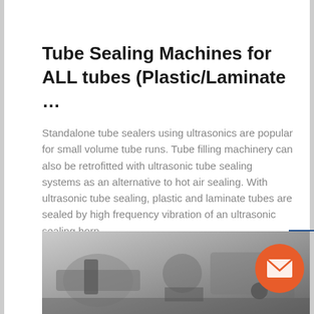Tube Sealing Machines for ALL tubes (Plastic/Laminate …
Standalone tube sealers using ultrasonics are popular for small volume tube runs. Tube filling machinery can also be retrofitted with ultrasonic tube sealing systems as an alternative to hot air sealing. With ultrasonic tube sealing, plastic and laminate tubes are sealed by high frequency vibration of an ultrasonic sealing horn.
Get Best Quote
[Figure (photo): Photo of tube sealing machine equipment, grayscale industrial machinery]